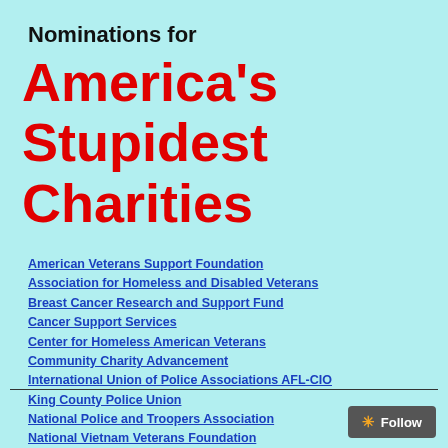Nominations for
America's Stupidest Charities
American Veterans Support Foundation
Association for Homeless and Disabled Veterans
Breast Cancer Research and Support Fund
Cancer Support Services
Center for Homeless American Veterans
Community Charity Advancement
International Union of Police Associations AFL-CIO
King County Police Union
National Police and Troopers Association
National Vietnam Veterans Foundation
Public Safety Employees Union 519
Seven Sisters of Healing